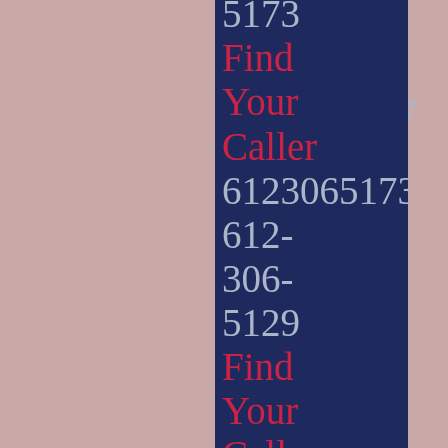Caller Finder
6123065107
612-306-5173
Find Your Caller
6123065173
612-306-5129
Find Your Caller